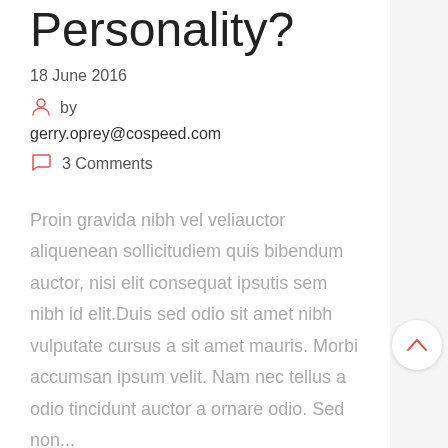Personality?
18 June 2016
by gerry.oprey@cospeed.com
3 Comments
Proin gravida nibh vel veliauctor aliquenean sollicitudiem quis bibendum auctor, nisi elit consequat ipsutis sem nibh id elit.Duis sed odio sit amet nibh vulputate cursus a sit amet mauris. Morbi accumsan ipsum velit. Nam nec tellus a odio tincidunt auctor a ornare odio. Sed non...